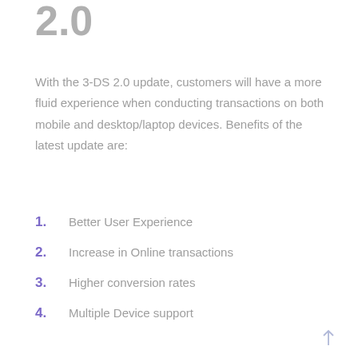2.0
With the 3-DS 2.0 update, customers will have a more fluid experience when conducting transactions on both mobile and desktop/laptop devices. Benefits of the latest update are:
1. Better User Experience
2. Increase in Online transactions
3. Higher conversion rates
4. Multiple Device support